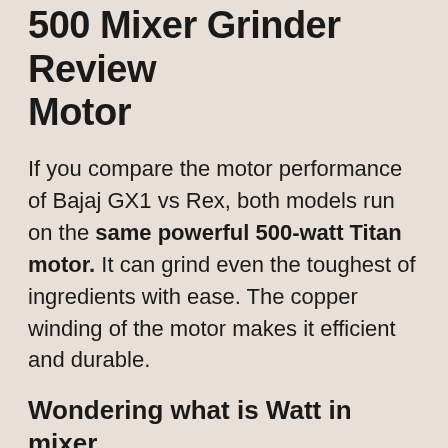500 Mixer Grinder Review Motor
If you compare the motor performance of Bajaj GX1 vs Rex, both models run on the same powerful 500-watt Titan motor. It can grind even the toughest of ingredients with ease. The copper winding of the motor makes it efficient and durable.
Wondering what is Watt in mixer grinder?
To have a complete understanding of the